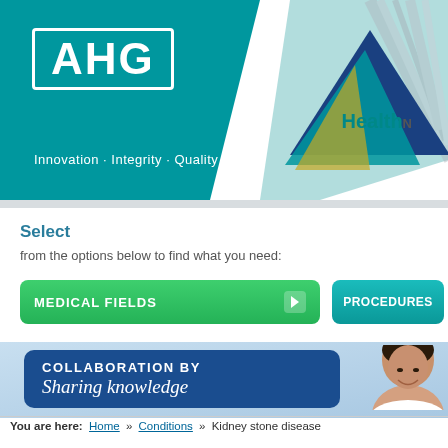[Figure (logo): AHG logo with white text in bordered box on teal header background, with tagline 'Innovation · Integrity · Quality · Value'. MHealth logo with blue triangle and rays on right side.]
Select
from the options below to find what you need:
MEDICAL FIELDS
PROCEDURES
[Figure (infographic): Blue banner with text 'COLLABORATION BY Sharing knowledge' on light blue background with partial photo of smiling woman on right]
You are here:  Home  »  Conditions  »  Kidney stone disease